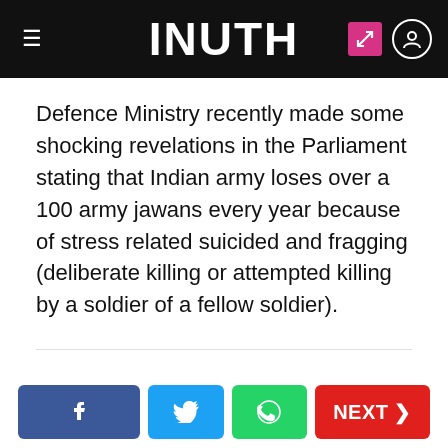INUTH
Defence Ministry recently made some shocking revelations in the Parliament stating that Indian army loses over a 100 army jawans every year because of stress related suicided and fragging (deliberate killing or attempted killing by a soldier of a fellow soldier).